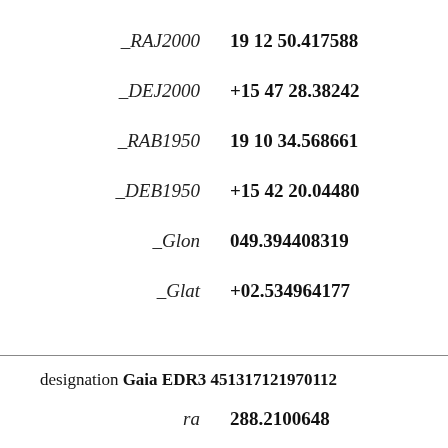_RAJ2000   19 12 50.417588
_DEJ2000   +15 47 28.38242
_RAB1950   19 10 34.568661
_DEB1950   +15 42 20.04480
_Glon   049.394408319
_Glat   +02.534964177
designation Gaia EDR3 451317121970112
ra   288.210064